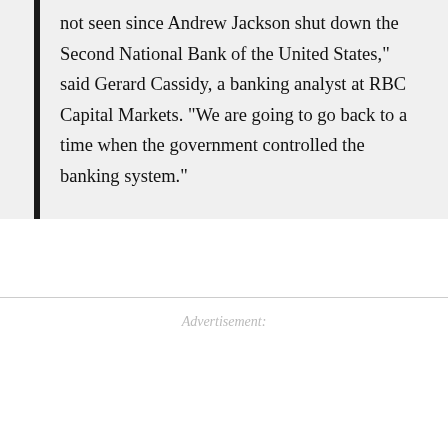not seen since Andrew Jackson shut down the Second National Bank of the United States," said Gerard Cassidy, a banking analyst at RBC Capital Markets. "We are going to go back to a time when the government controlled the banking system."
Advertisement: